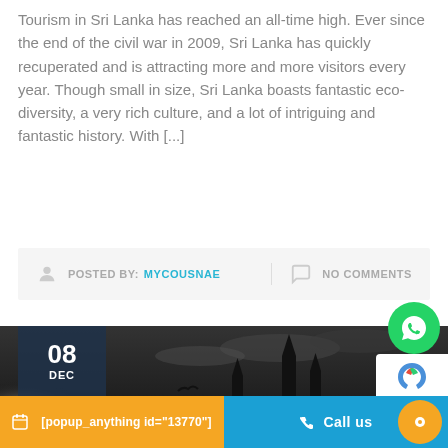Tourism in Sri Lanka has reached an all-time high. Ever since the end of the civil war in 2009, Sri Lanka has quickly recuperated and is attracting more and more visitors every year. Though small in size, Sri Lanka boasts fantastic eco-diversity, a very rich culture, and a lot of intriguing and fantastic history. With [...]
POSTED BY: MYCOUSNAE    NO COMMENTS
[Figure (photo): Black and white silhouette photo of mosque minarets and domes against a dramatic cloudy sky, with a bird in flight. Date badge shows 08 DEC in top left corner.]
[popup_anything id="13770"]
Call us